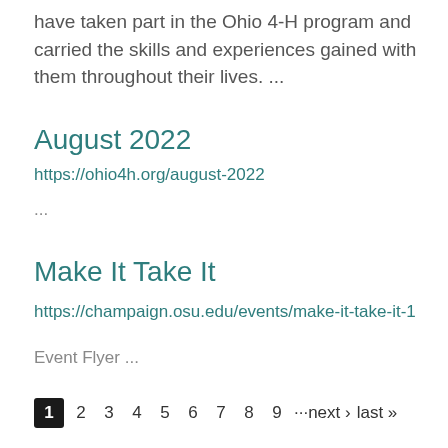have taken part in the Ohio 4-H program and carried the skills and experiences gained with them throughout their lives. ...
August 2022
https://ohio4h.org/august-2022
...
Make It Take It
https://champaign.osu.edu/events/make-it-take-it-1
Event Flyer ...
1 2 3 4 5 6 7 8 9 ···next › last »